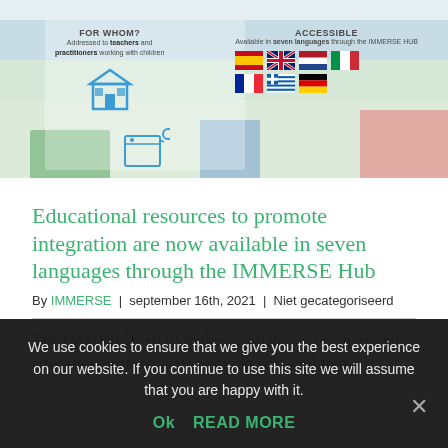[Figure (infographic): IMMERSE Hub banner showing FOR WHOM section (addressed to teachers and practitioners working with children, with school and teacher icons) and ACCESSIBLE section (available in seven languages through the IMMERSE HUB, with seven country flags: Spanish, British, Dutch, Italian, French, Greek, German)]
Educational resources to promote integration are now available in seven languages through the IMMERSE Hub
By IMMERSE | september 16th, 2021 | Niet gecategoriseerd
The IMMERSE HUB makes available to teachers and education professionals working with children
We use cookies to ensure that we give you the best experience on our website. If you continue to use this site we will assume that you are happy with it.
Ok  READ MORE